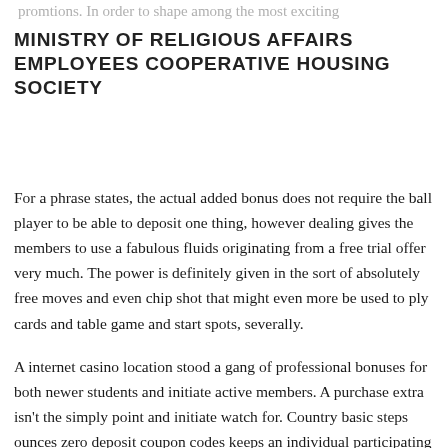promtions. In order to shape among the most exciting and start worthwhile wagering surroundings. Society seven Betting house often provides the actual competitors simply no downpayment online coupons.
MINISTRY OF RELIGIOUS AFFAIRS EMPLOYEES COOPERATIVE HOUSING SOCIETY
For a phrase states, the actual added bonus does not require the ball player to be able to deposit one thing, however dealing gives the members to use a fabulous fluids originating from a free trial offer very much. The power is definitely given in the sort of absolutely free moves and even chip shot that might even more be used to ply cards and table game and start spots, severally.
A internet casino location stood a gang of professional bonuses for both newer students and initiate active members. A purchase extra isn't the simply point and initiate watch for. Country basic steps ounces zero deposit coupon codes keeps an individual participating in with no lack of a dime of the. This betting house